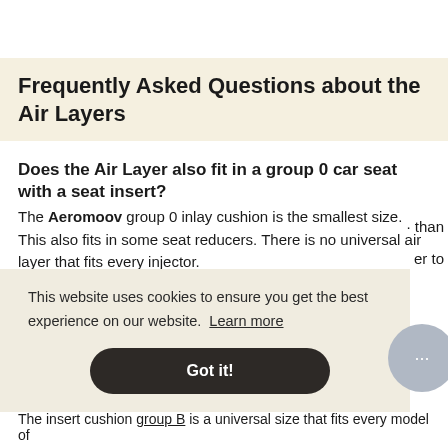Frequently Asked Questions about the Air Layers
Does the Air Layer also fit in a group 0 car seat with a seat insert?
The Aeromoov group 0 inlay cushion is the smallest size. This also fits in some seat reducers. There is no universal air layer that fits every injector.
Does my air layer from the car seat also fit in the buggy?
This website uses cookies to ensure you get the best experience on our website. Learn more
Got it!
The insert cushion group B is a universal size that fits every model of